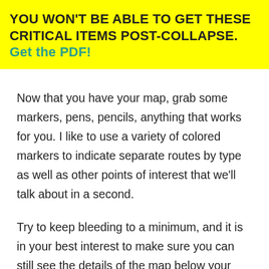YOU WON'T BE ABLE TO GET THESE CRITICAL ITEMS POST-COLLAPSE. Get the PDF!
Now that you have your map, grab some markers, pens, pencils, anything that works for you. I like to use a variety of colored markers to indicate separate routes by type as well as other points of interest that we'll talk about in a second.
Try to keep bleeding to a minimum, and it is in your best interest to make sure you can still see the details of the map below your markup, so choose your implement carefully. Make sure it cannot wash off the map easily, so that means